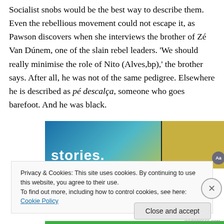Socialist snobs would be the best way to describe them. Even the rebellious movement could not escape it, as Pawson discovers when she interviews the brother of Zé Van Dúnem, one of the slain rebel leaders. 'We should really minimise the role of Nito (Alves,bp),' the brother says. After all, he was not of the same pedigree. Elsewhere he is described as pé descalça, someone who goes barefoot. And he was black.
[Figure (other): Partial advertisement banner showing the word 'stories.' in bold white text on a blue-green gradient background, with a yellow-green section on the right containing a grey circular icon with 'Aa' label.]
Privacy & Cookies: This site uses cookies. By continuing to use this website, you agree to their use.
To find out more, including how to control cookies, see here: Cookie Policy
Close and accept